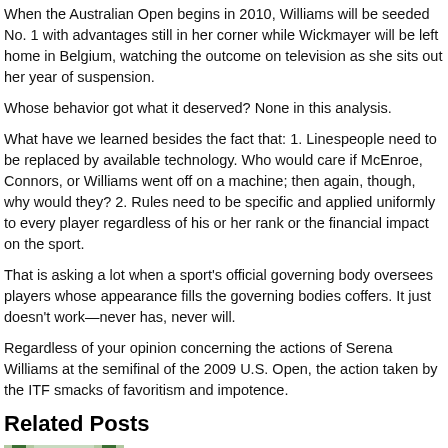When the Australian Open begins in 2010, Williams will be seeded No. 1 with advantages still in her corner while Wickmayer will be left home in Belgium, watching the outcome on television as she sits out her year of suspension.
Whose behavior got what it deserved? None in this analysis.
What have we learned besides the fact that: 1. Linespeople need to be replaced by available technology. Who would care if McEnroe, Connors, or Williams went off on a machine; then again, though, why would they? 2. Rules need to be specific and applied uniformly to every player regardless of his or her rank or the financial impact on the sport.
That is asking a lot when a sport's official governing body oversees players whose appearance fills the governing bodies coffers. It just doesn't work—never has, never will.
Regardless of your opinion concerning the actions of Serena Williams at the semifinal of the 2009 U.S. Open, the action taken by the ITF smacks of favoritism and impotence.
Related Posts
[Figure (photo): Cyclists riding on a tree-lined road, shot from behind]
Top 10 Gravel Bike Races in the U.S.